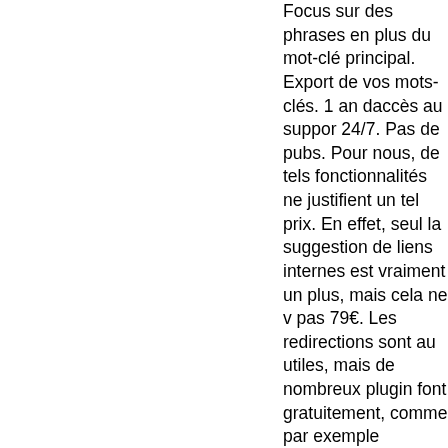Focus sur des phrases en plus du mot-clé principal. Export de vos mots-clés. 1 an daccès au support 24/7. Pas de pubs. Pour nous, de tels fonctionnalités ne justifient un tel prix. En effet, seul la suggestion de liens internes est vraiment un plus, mais cela ne v pas 79€. Les redirections sont au utiles, mais de nombreux plugin font gratuitement, comme par exemple Redirection 301. Vous voulez améliorer les performance SEO de votre site WordPress? Nhésitez pas à contacter La Revanche des Sites, Agence SEO Lille. 4.8/5 - 5 votes. Inscrivez-vous à notre newsletter! Cest loccasion pour vous de recevoir régulièrement un concentré dinf qualitatives sur les dernières tendances du digital, ainsi que le nouveautés de lagence. Précéden Article précédent Migration de site: Pourquoi, comment et quel